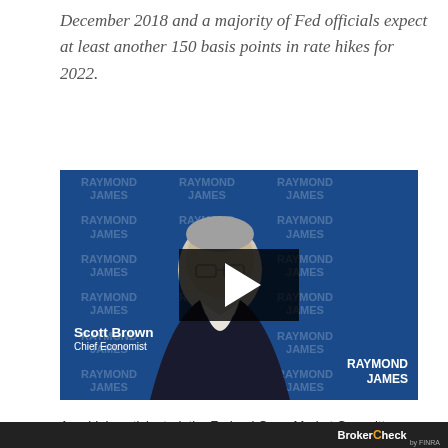December 2018 and a majority of Fed officials expect at least another 150 basis points in rate hikes for 2022.
[Figure (photo): Video thumbnail showing Scott Brown, Chief Economist at Raymond James, seated in front of a blue Raymond James branded backdrop. A play button overlay is visible in the center of the image.]
As widely anticipated, the Federal Open Market Committee (FOMC) raised the target range for the federal funds r...